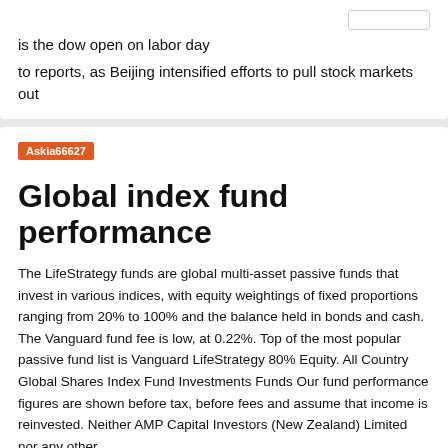is the dow open on labor day
to reports, as Beijing intensified efforts to pull stock markets out
Askia66627
Global index fund performance
The LifeStrategy funds are global multi-asset passive funds that invest in various indices, with equity weightings of fixed proportions ranging from 20% to 100% and the balance held in bonds and cash. The Vanguard fund fee is low, at 0.22%. Top of the most popular passive fund list is Vanguard LifeStrategy 80% Equity. All Country Global Shares Index Fund Investments Funds Our fund performance figures are shown before tax, before fees and assume that income is reinvested. Neither AMP Capital Investors (New Zealand) Limited nor any other